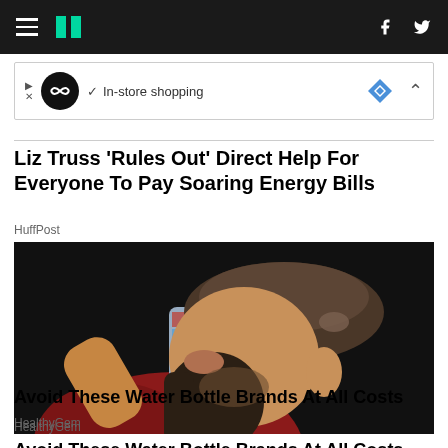HuffPost navigation bar with hamburger menu, logo, social icons (Facebook, Twitter)
[Figure (screenshot): Advertisement banner showing in-store shopping with a circular logo, checkmark, and navigation arrow icon]
Liz Truss 'Rules Out' Direct Help For Everyone To Pay Soaring Energy Bills
HuffPost
[Figure (photo): A man with long dark hair wearing a brown flat cap and red shirt, drinking from a plastic water bottle against a dark background]
Avoid These Water Bottle Brands At All Costs
HealthyGem